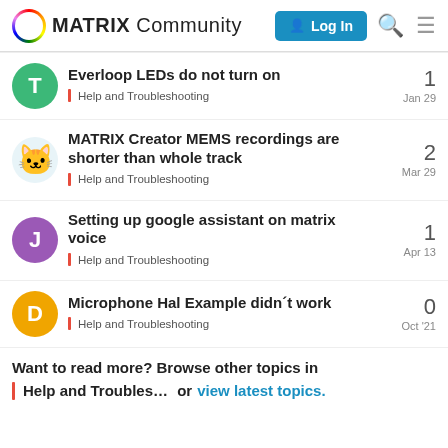MATRIX Community | Log In
Everloop LEDs do not turn on | Help and Troubleshooting | 1 | Jan 29
MATRIX Creator MEMS recordings are shorter than whole track | Help and Troubleshooting | 2 | Mar 29
Setting up google assistant on matrix voice | Help and Troubleshooting | 1 | Apr 13
Microphone Hal Example didn´t work | Help and Troubleshooting | 0 | Oct '21
Want to read more? Browse other topics in Help and Troubles... or view latest topics.